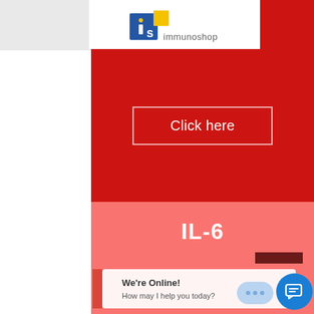[Figure (logo): Immunoshop logo: blue square 'is' with yellow square accent, text 'immunoshop' below]
[Figure (screenshot): Red banner with 'Click here' button outlined in white border]
IL-6
We're Online! How may I help you today?